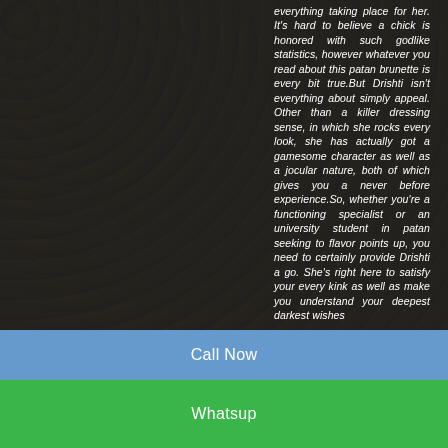everything taking place for her. It's hard to believe a chick is honored with such godlike statistics, however whatever you read about this patan brunette is every bit true.But Drishti isn't everything about simply appeal. Other than a killer dressing sense, in which she rocks every look, she has actually got a gamesome character as well as a jocular nature, both of which gives you a never before experience.So, whether you're a functioning specialist or an university student in patan seeking to flavor points up, you need to certainly provide Drishti a go. She's right here to satisfy your every kink as well as make you understand your deepest darkest wishes
Call Now
Whatsup